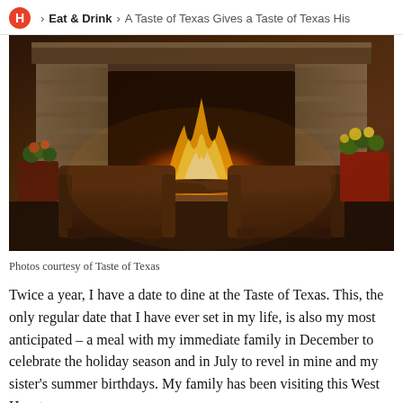H > Eat & Drink > A Taste of Texas Gives a Taste of Texas His
[Figure (photo): Interior of Taste of Texas restaurant showing two brown leather armchairs in front of a large stone fireplace with a roaring fire, flanked by floral arrangements in a warm, dimly lit setting]
Photos courtesy of Taste of Texas
Twice a year, I have a date to dine at the Taste of Texas. This, the only regular date that I have ever set in my life, is also my most anticipated – a meal with my immediate family in December to celebrate the holiday season and in July to revel in mine and my sister's summer birthdays. My family has been visiting this West Houston